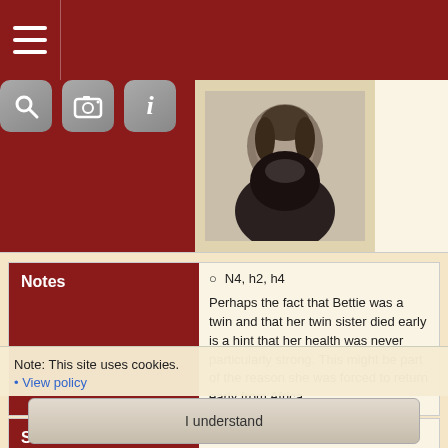[Figure (screenshot): Mobile app top navigation bar with hamburger menu on left, and search, camera, and info icons on right, dark red background]
[Figure (photo): Old black and white portrait photograph of a person]
Notes
N4, h2, h4
Perhaps the fact that Bettie was a twin and that her twin sister died early is a hint that her health was never particularly strong. This might be part of the reason she was forced to return early from Africa.
Sources
[S800] Merritt Graves Genealogical Notes, Descendants of Micajah Thomas Cooper and Sarah Vincent - Cooper files, Bedford County, Tennessee.
[S641] Find A Grave, 26 November 2014; Elizabeth Cooper Cason; Elizabeth Cooper Cason, 14808880; Mimi Simpson Davidson, Kandyce Hardin Williams Glaser.
[S641] Texas Death Certificate, Rev. Jeremiah H Cason; Rockwall Co., Texas; No. 18693; 9 June 1919.
Note: This site uses cookies.
• View policy
I understand